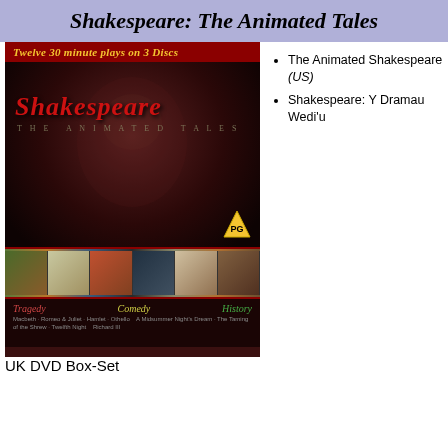Shakespeare: The Animated Tales
[Figure (photo): DVD box-set cover of Shakespeare: The Animated Tales — dark red background with a faded face, red Shakespeare script title, PG rating badge, thumbnail images of animated scenes, and genre labels (Tragedy, Comedy, History) at bottom.]
UK DVD Box-Set
The Animated Shakespeare (US)
Shakespeare: Y Dramau Wedi'u